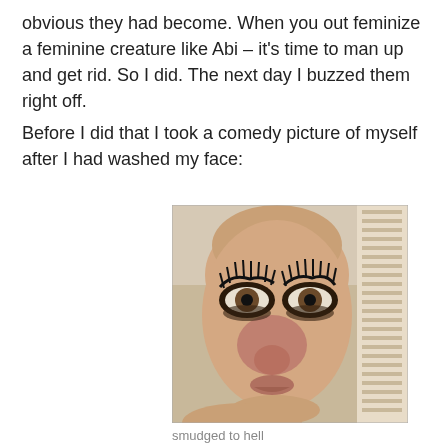obvious they had become. When you out feminize a feminine creature like Abi – it's time to man up and get rid. So I did. The next day I buzzed them right off.
Before I did that I took a comedy picture of myself after I had washed my face:
[Figure (photo): Close-up selfie of a bald man with heavily smudged mascara/eyelash extensions around his eyes, taken in a bathroom setting.]
smudged to hell